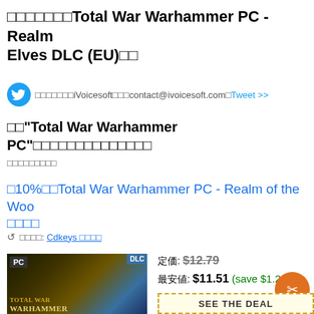□□□□□□□Total War Warhammer PC - Realm Elves DLC (EU)□□
□□□□□□□iVoicesoft□□□contact@ivoicesoft.com□Tweet >>
□□"Total War Warhammer PC"□□□□□□□□□□□□□□□
□□□□□□□□□
□10%□□Total War Warhammer PC - Realm of the Woo □□□□
□□ □□□□: Cdkeys □□□□
[Figure (screenshot): Product box image for Total War Warhammer PC DLC with PC badge and DLC label in blue triangle]
定価: $12.79
最安値: $11.51 (save $1.28)
SEE THE DEAL